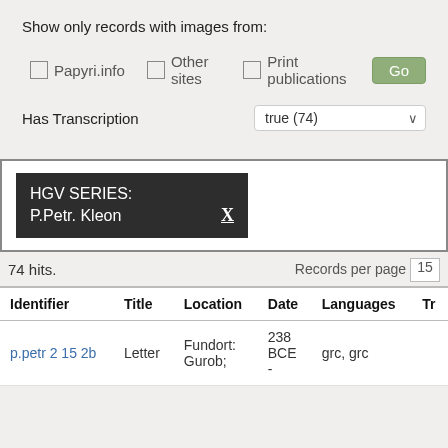Show only records with images from:
Papyri.info   Other sites   Print publications   Go
Has Transcription   true (74)
HGV SERIES: P.Petr. Kleon   X
74 hits.   Records per page  15
| Identifier | Title | Location | Date | Languages | Tr |
| --- | --- | --- | --- | --- | --- |
| p.petr 2 15 2b | Letter | Fundort: Gurob; | 238 BCE - | grc, grc |  |